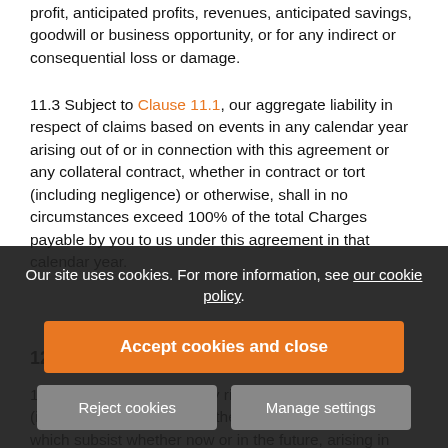profit, anticipated profits, revenues, anticipated savings, goodwill or business opportunity, or for any indirect or consequential loss or damage.
11.3 Subject to Clause 11.1, our aggregate liability in respect of claims based on events in any calendar year arising out of or in connection with this agreement or any collateral contract, whether in contract or tort (including negligence) or otherwise, shall in no circumstances exceed 100% of the total Charges payable by you to us under this agreement in that calendar year.
12 Intellectual property rights
12.1 All intellectual property rights in or to the Site (including in the content of the Site and the Software) which subsist whether now or in the future, arising in connection with this agreement shall be
Our site uses cookies. For more information, see our cookie policy.
Accept cookies and close
Reject cookies
Manage settings